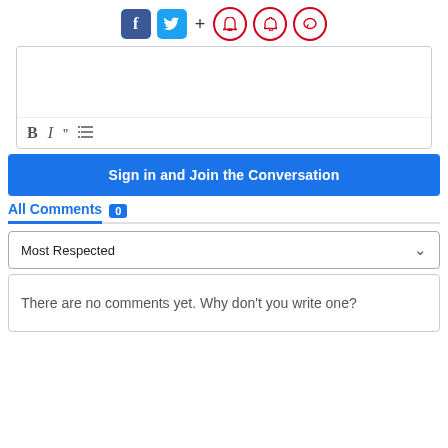[Figure (screenshot): Social media share icons: Facebook, Twitter, plus sign, and three red circular icons (bookmark, notification bell, comment)]
[Figure (screenshot): Comment text input box with formatting toolbar (Bold, Italic, Quote, List)]
Sign in and Join the Conversation
All Comments 0
Most Respected
There are no comments yet. Why don't you write one?